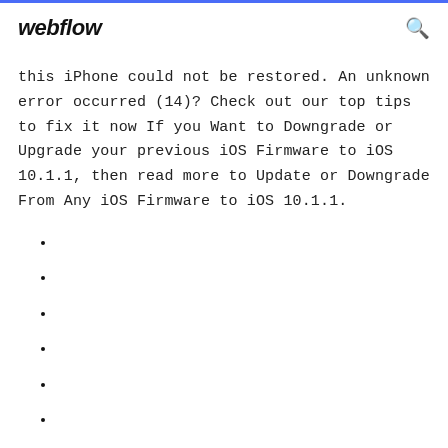webflow
this iPhone could not be restored. An unknown error occurred (14)? Check out our top tips to fix it now If you Want to Downgrade or Upgrade your previous iOS Firmware to iOS 10.1.1, then read more to Update or Downgrade From Any iOS Firmware to iOS 10.1.1.